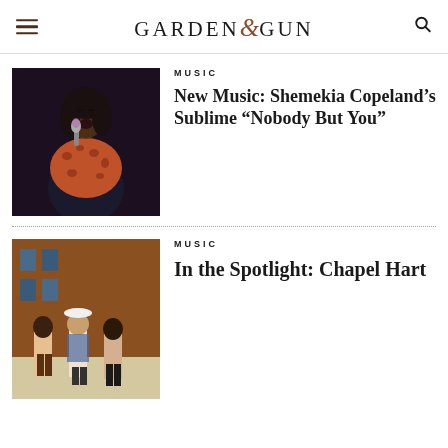Garden & Gun
[Figure (photo): Woman singing into a microphone wearing a leopard print jacket]
MUSIC
New Music: Shemekia Copeland’s Sublime “Nobody But You”
[Figure (photo): Three women posing outdoors in front of a building]
MUSIC
In the Spotlight: Chapel Hart